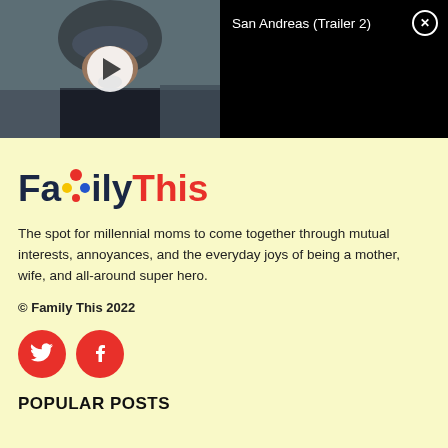[Figure (screenshot): Video player bar showing a movie trailer thumbnail on the left (person in uniform with helmet, mouth open) with a play button overlay, and on the right a black panel with the title 'San Andreas (Trailer 2)' and a close (X) button]
[Figure (logo): FamilyThis logo in bold text: 'Fa' in dark navy, colorful star/people icon, 'ily' in dark navy, 'This' in red]
The spot for millennial moms to come together through mutual interests, annoyances, and the everyday joys of being a mother, wife, and all-around super hero.
© Family This 2022
[Figure (infographic): Two red circular social media buttons: Twitter bird icon and Facebook 'f' icon]
POPULAR POSTS